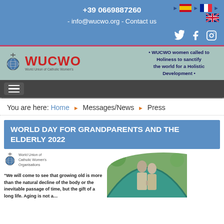+39 0669887260 - info@wucwo.org - Contact us
[Figure (logo): WUCWO logo banner with globe icon, red WUCWO text, and tagline: WUCWO women called to Holiness to sanctify the world for a Holistic Development]
You are here: Home > Messages/News > Press
WORLD DAY FOR GRANDPARENTS AND THE ELDERLY 2022
[Figure (infographic): WUCWO infographic with logo, quote text about growing old, and photo of elderly couple from behind in a garden]
"We will come to see that growing old is more than the natural decline of the body or the inevitable passage of time, but the gift of a long life. Aging is not a...